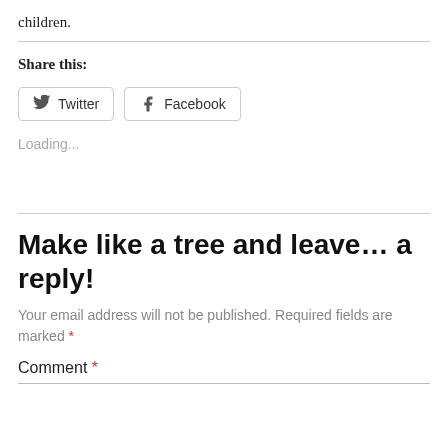children.
Share this:
[Figure (other): Twitter and Facebook share buttons]
Loading...
Make like a tree and leave... a reply!
Your email address will not be published. Required fields are marked *
Comment *